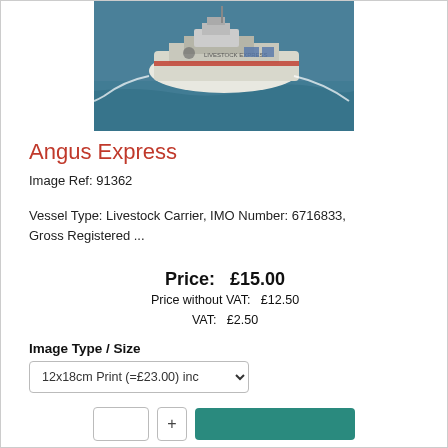[Figure (photo): Aerial photograph of a ship named Livestock Express sailing on the sea, viewed from above and slightly to the side.]
Angus Express
Image Ref: 91362
Vessel Type: Livestock Carrier, IMO Number: 6716833, Gross Registered ...
Price: £15.00
Price without VAT: £12.50
VAT: £2.50
Image Type / Size
12x18cm Print (=£23.00) inc